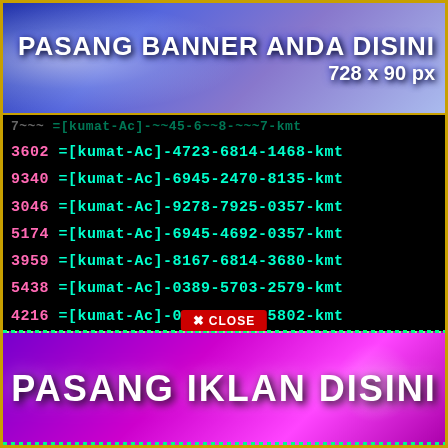[Figure (illustration): Top banner advertisement with blue/purple floral background. Text reads 'PASANG BANNER ANDA DISINI' and '728 x 90 px']
7~~~ =[kumat-Ac]-~~45-6~~8-~~~7-kmt (partially visible/cut off top row)
3602 =[kumat-Ac]-4723-6814-1468-kmt
9340 =[kumat-Ac]-6945-2470-8135-kmt
3046 =[kumat-Ac]-9278-7925-0357-kmt
5174 =[kumat-Ac]-6945-4692-0357-kmt
3959 =[kumat-Ac]-8167-6814-3680-kmt
5438 =[kumat-Ac]-0389-5703-2579-kmt
4216 =[kumat-Ac]-0389-7925-5802-kmt
6764 =[kumat-Ac]-7056-4692-1468-kmt
6315 =[kumat-Ac]-9278-2470-4791-kmt
2554 =[kumat-Ac]-6945-2470-0357-kmt
1213 =[kumat-Ac]-0389-8~~~-~~~57-kmt (partially obscured by CLOSE button)
[Figure (illustration): Close button overlay with red background and text 'X CLOSE']
[Figure (illustration): Bottom banner advertisement with purple/magenta gradient background. Text reads 'PASANG IKLAN DISINI']